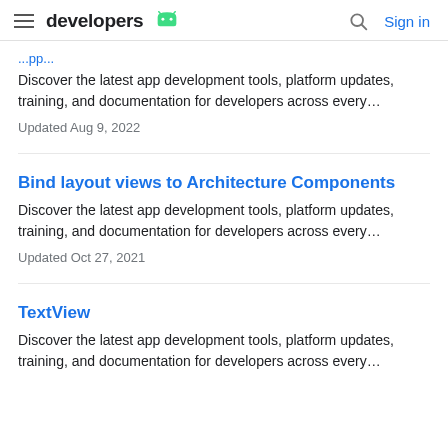developers [Android logo] | Search | Sign in
Discover the latest app development tools, platform updates, training, and documentation for developers across every…
Updated Aug 9, 2022
Bind layout views to Architecture Components
Discover the latest app development tools, platform updates, training, and documentation for developers across every…
Updated Oct 27, 2021
TextView
Discover the latest app development tools, platform updates, training, and documentation for developers across every…